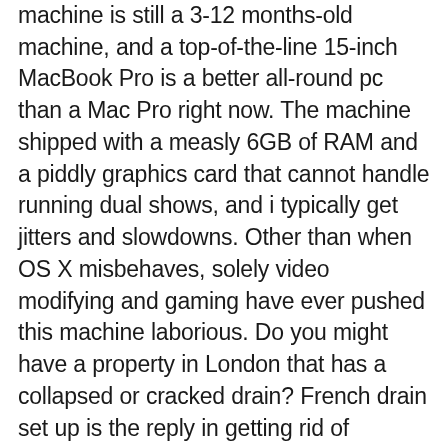machine is still a 3-12 months-old machine, and a top-of-the-line 15-inch MacBook Pro is a better all-round pc than a Mac Pro right now. The machine shipped with a measly 6GB of RAM and a piddly graphics card that cannot handle running dual shows, and i typically get jitters and slowdowns. Other than when OS X misbehaves, solely video modifying and gaming have ever pushed this machine laborious. Do you might have a property in London that has a collapsed or cracked drain? French drain set up is the reply in getting rid of standing water wherever in your property - in your basement, crawlspace, and yard. It was previously practically unattainable to arrange a septic course of the place the earth doesn't drain nicely, or where the water table is high. With only one spare excessive slot for a utility module or missile launcher, Odyssey 1.1 has solidified the Muninn's position as a mid-range sniper. The Ishtar has become a formidable sniper that may place its turrets around the battlefield, and the